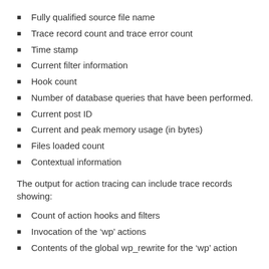Fully qualified source file name
Trace record count and trace error count
Time stamp
Current filter information
Hook count
Number of database queries that have been performed.
Current post ID
Current and peak memory usage (in bytes)
Files loaded count
Contextual information
The output for action tracing can include trace records showing:
Count of action hooks and filters
Invocation of the ‘wp’ actions
Contents of the global wp_rewrite for the ‘wp’ action